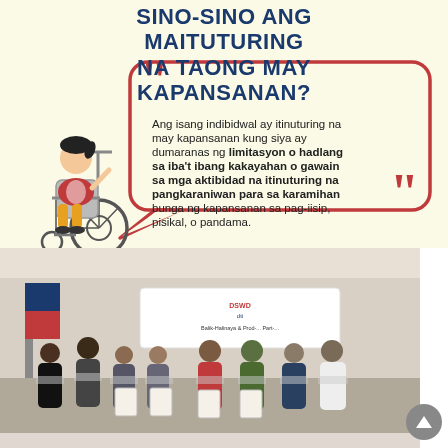SINO-SINO ANG MAITUTURING NA TAONG MAY KAPANSANAN?
[Figure (infographic): Infographic with a speech bubble containing Tagalog text about the definition of a person with disability. A wheelchair user illustration is on the left side. The speech bubble has large red quotation marks at top-left and bottom-right. The text reads: 'Ang isang indibidwal ay itinuturing na may kapansanan kung siya ay dumaranas ng limitasyon o hadlang sa iba't ibang kakayahan o gawain sa mga aktibidad na itinuturing na pangkaraniwan para sa karamihan bunga ng kapansanan sa pag-iisip, pisikal, o pandama.']
[Figure (photo): Group photo of approximately 8 people wearing face masks in a formal indoor setting. Some individuals are holding framed certificates. A banner in the background shows DSWD and DTI logos. The setting appears to be an award or recognition ceremony.]